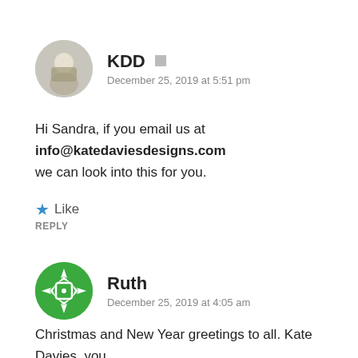KDD
December 25, 2019 at 5:51 pm
Hi Sandra, if you email us at info@katedaviesdesigns.com we can look into this for you.
Like
REPLY
Ruth
December 25, 2019 at 4:05 am
Christmas and New Year greetings to all. Kate Davies, you and your work are miraculous. That is, all are miracles good